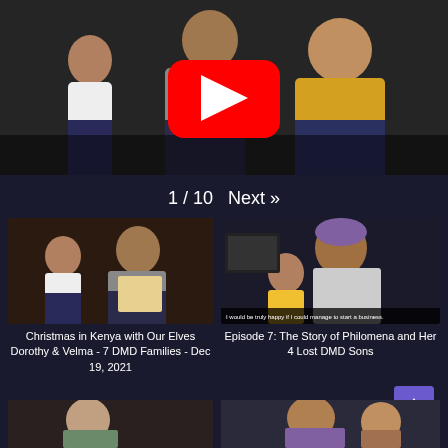[Figure (screenshot): YouTube video thumbnail showing people (including a child in white shirt) sitting together, with a red YouTube play button overlay in the center]
1 / 10  Next »
[Figure (screenshot): Thumbnail image – Christmas in Kenya with Our Elves Dorothy & Velma - 7 DMD Families - Dec 19, 2021]
Christmas in Kenya with Our Elves Dorothy & Velma - 7 DMD Families - Dec 19, 2021
[Figure (screenshot): Thumbnail image – Episode 7: The Story of Philomena and Her 4 Lost DMD Sons, showing a woman with glasses holding a child, subtitle text visible]
Episode 7: The Story of Philomena and Her 4 Lost DMD Sons
[Figure (screenshot): Bottom left partial thumbnail – partially visible image]
[Figure (screenshot): Bottom right partial thumbnail – partially visible image of people]